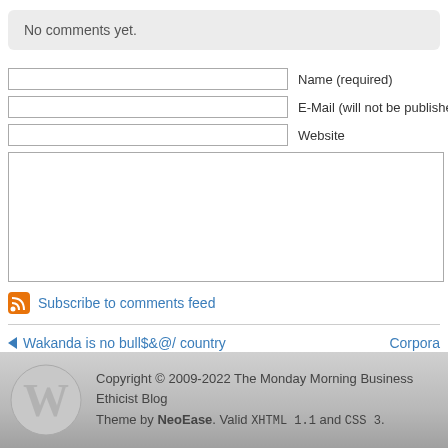No comments yet.
Name (required)
E-Mail (will not be published) (required)
Website
Subscribe to comments feed
◄ Wakanda is no bull$&@/ country
Corpora
Copyright © 2009-2022 The Monday Morning Business Ethicist Blog Theme by NeoEase. Valid XHTML 1.1 and CSS 3.